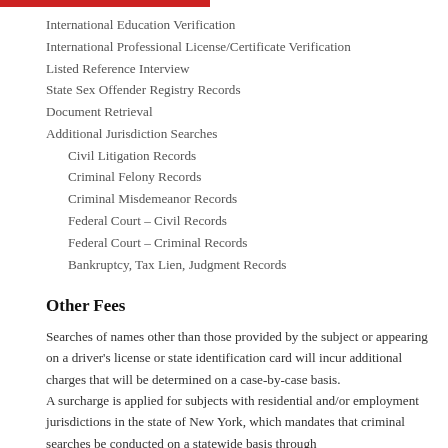International Education Verification
International Professional License/Certificate Verification
Listed Reference Interview
State Sex Offender Registry Records
Document Retrieval
Additional Jurisdiction Searches
Civil Litigation Records
Criminal Felony Records
Criminal Misdemeanor Records
Federal Court – Civil Records
Federal Court – Criminal Records
Bankruptcy, Tax Lien, Judgment Records
Other Fees
Searches of names other than those provided by the subject or appearing on a driver's license or state identification card will incur additional charges that will be determined on a case-by-case basis.
A surcharge is applied for subjects with residential and/or employment jurisdictions in the state of New York, which mandates that criminal searches be conducted on a statewide basis through